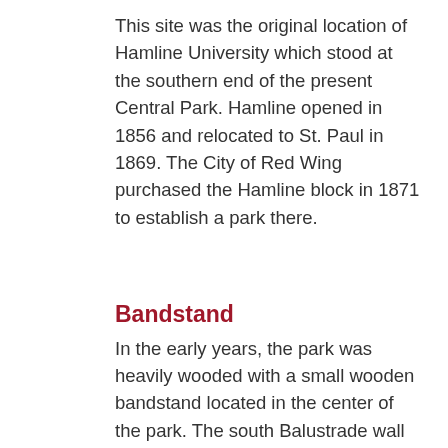This site was the original location of Hamline University which stood at the southern end of the present Central Park. Hamline opened in 1856 and relocated to St. Paul in 1869. The City of Red Wing purchased the Hamline block in 1871 to establish a park there.
Bandstand
In the early years, the park was heavily wooded with a small wooden bandstand located in the center of the park. The south Balustrade wall was constructed sometime prior to 1890 from local limestone. The original bandshell located in the north end of the park was built in 1932 and was also constructed from local limestone. The new bandshell was completed and opened to the public on July 4,